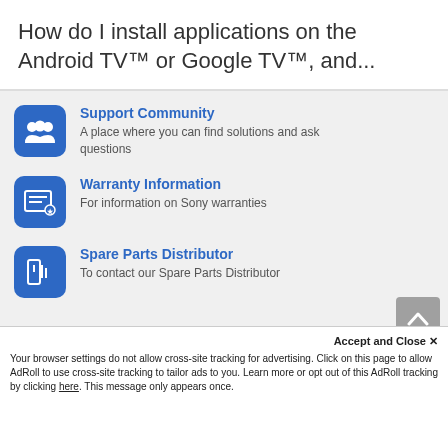How do I install applications on the Android TV™ or Google TV™, and...
Support Community — A place where you can find solutions and ask questions
Warranty Information — For information on Sony warranties
Spare Parts Distributor — To contact our Spare Parts Distributor
Accept and Close ✕ Your browser settings do not allow cross-site tracking for advertising. Click on this page to allow AdRoll to use cross-site tracking to tailor ads to you. Learn more or opt out of this AdRoll tracking by clicking here. This message only appears once.